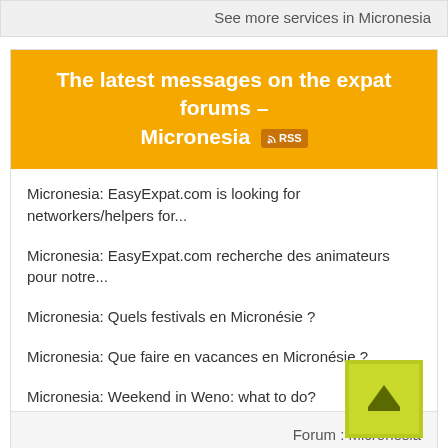See more services in Micronesia
The latest messages on the expat forums – Micronesia RSS
Micronesia: EasyExpat.com is looking for networkers/helpers for...
Micronesia: EasyExpat.com recherche des animateurs pour notre...
Micronesia: Quels festivals en Micronésie ?
Micronesia: Que faire en vacances en Micronésie ?
Micronesia: Weekend in Weno: what to do?
Forum : Micronesia